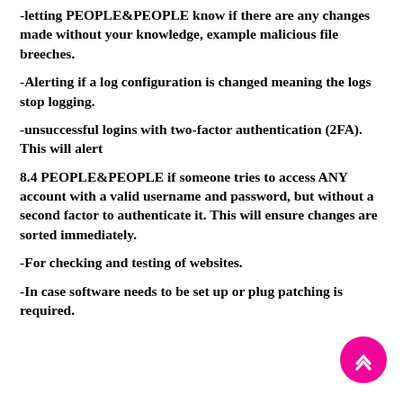-letting PEOPLE&PEOPLE know if there are any changes made without your knowledge, example malicious file breeches.
-Alerting if a log configuration is changed meaning the logs stop logging.
-unsuccessful logins with two-factor authentication (2FA). This will alert
8.4 PEOPLE&PEOPLE if someone tries to access ANY account with a valid username and password, but without a second factor to authenticate it. This will ensure changes are sorted immediately.
-For checking and testing of websites.
-In case software needs to be set up or plug patching is required.